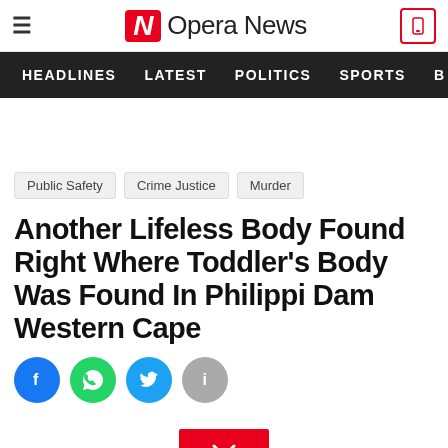Opera News
HEADLINES   LATEST   POLITICS   SPORTS
Public Safety
Crime Justice
Murder
Another Lifeless Body Found Right Where Toddler's Body Was Found In Philippi Dam Western Cape
[Figure (other): Social share buttons: Facebook, WhatsApp, Twitter, Info]
[Figure (other): Red chevron/down arrow button]